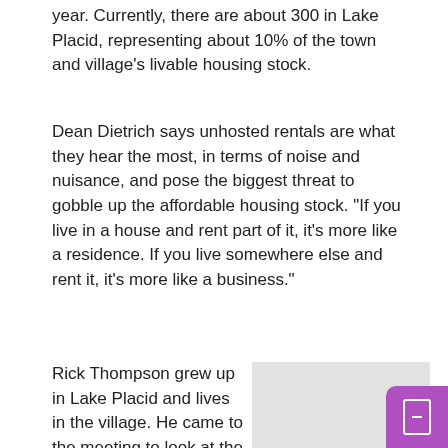year. Currently, there are about 300 in Lake Placid, representing about 10% of the town and village’s livable housing stock.
Dean Dietrich says unhosted rentals are what they hear the most, in terms of noise and nuisance, and pose the biggest threat to gobble up the affordable housing stock. “If you live in a house and rent part of it, it’s more like a residence. If you live somewhere else and rent it, it’s more like a business.”
Rick Thompson grew up in Lake Placid and lives in the village. He came to the meeting to look at the cards. He is neither for nor
[Figure (photo): Loading placeholder image area with 'loading...' text, showing a photo of Rick Thompson]
Rick Thompson. Photo: Amy Feiereisel